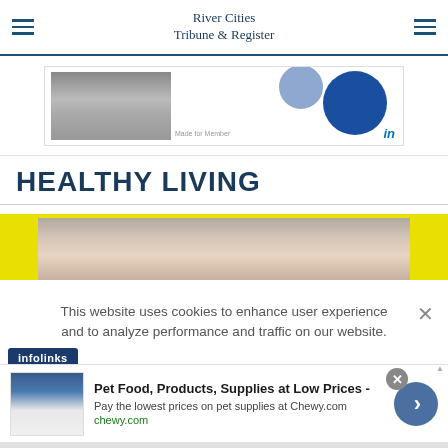River Cities Tribune & Register
[Figure (screenshot): LinkedIn advertisement banner with photo and blue circles]
HEALTHY LIVING
[Figure (photo): Partial face photo with yellow background border for Healthy Living article]
This website uses cookies to enhance user experience and to analyze performance and traffic on our website.
[Figure (logo): Infolinks badge logo]
[Figure (screenshot): Chewy.com advertisement: Pet Food, Products, Supplies at Low Prices - Pay the lowest prices on pet supplies at Chewy.com]